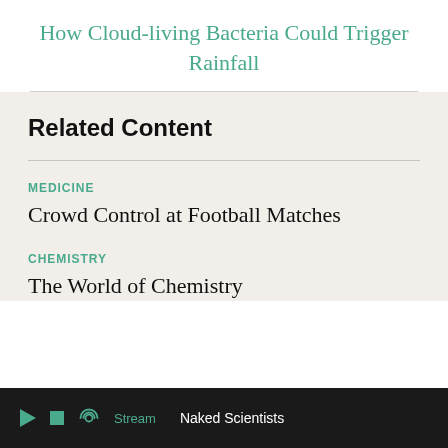How Cloud-living Bacteria Could Trigger Rainfall
Related Content
MEDICINE
Crowd Control at Football Matches
CHEMISTRY
The World of Chemistry
Stream  Naked Scientists